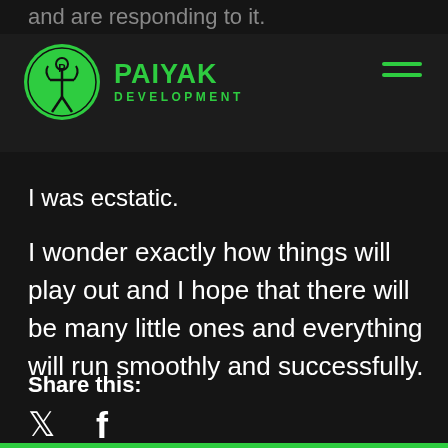and are responding to it.
[Figure (logo): Paiyak Development logo: green circle with skeleton/figure icon and P letter, with green text PAIYAK DEVELOPMENT to the right, and a hamburger menu icon on the right]
I was ecstatic.
I wonder exactly how things will play out and I hope that there will be many little ones and everything will run smoothly and successfully.
Share this:
[Figure (illustration): Twitter and Facebook social share icons in white]